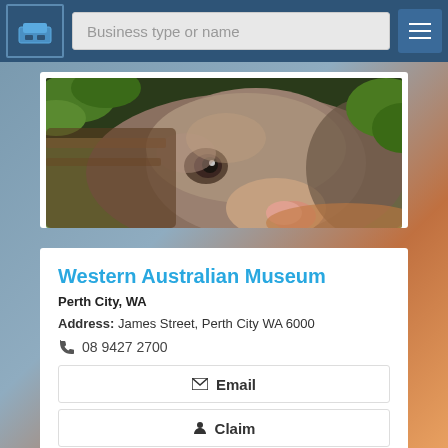Business type or name
[Figure (photo): Close-up photo of a wombat face peering out from behind wood or rock, with green foliage in background]
Western Australian Museum
Perth City, WA
Address: James Street, Perth City WA 6000
08 9427 2700
Email
Claim
Call N...